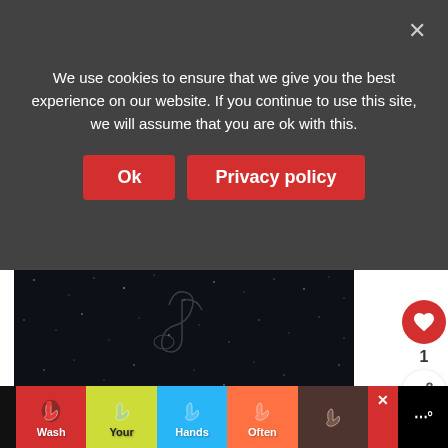We use cookies to ensure that we give you the best experience on our website. If you continue to use this site, we will assume that you are ok with this.
[Figure (screenshot): Cookie consent banner with Ok and Privacy policy buttons on a dark semi-transparent overlay]
[Figure (photo): Dark starry night sky hero image with faint decorative line art]
1
[Figure (infographic): WHAT'S NEXT arrow widget with thumbnail and title: Why Having A Stockpile...]
Our root cellar which I call cold room because
[Figure (infographic): Advertisement banner: Wash Your Hands Often with colorful handwashing illustrations]